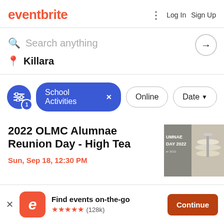eventbrite | Log In  Sign Up
Search anything
Killara
School Activities × Online Date
2022 OLMC Alumnae Reunion Day - High Tea
Sun, Sep 18, 12:30 PM
[Figure (photo): Event thumbnail showing tiered tray of food with text UMNAE DAY 2022]
Find events on-the-go ★★★★★ (128k)  Continue